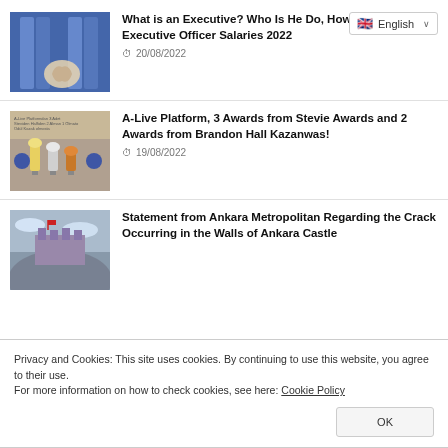[Figure (screenshot): Language selector dropdown showing English with flag icon]
[Figure (photo): Thumbnail of blue binders/folders on a shelf with a hand]
What is an Executive? Who Is He Do, How To Become? Executive Officer Salaries 2022
20/08/2022
[Figure (photo): Thumbnail of A-Live platform awards trophies]
A-Live Platform, 3 Awards from Stevie Awards and 2 Awards from Brandon Hall Kazanwas!
19/08/2022
[Figure (photo): Thumbnail of Ankara Castle on a hilltop]
Statement from Ankara Metropolitan Regarding the Crack Occurring in the Walls of Ankara Castle
Privacy and Cookies: This site uses cookies. By continuing to use this website, you agree to their use.
For more information on how to check cookies, see here: Cookie Policy
[Figure (photo): Thumbnail of another article at the bottom]
19/08/2022